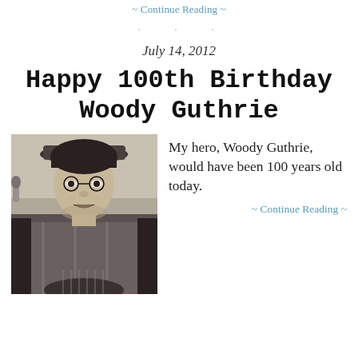~ Continue Reading ~
· · ·
July 14, 2012
Happy 100th Birthday Woody Guthrie
[Figure (photo): Black and white photograph of Woody Guthrie playing guitar, looking upward, wearing a plaid shirt and hat, with a microphone visible in the background.]
My hero, Woody Guthrie, would have been 100 years old today.
~ Continue Reading ~